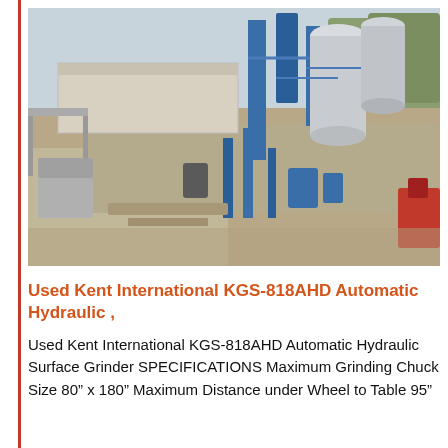[Figure (photo): Aerial/overhead view of an industrial grinding or mixing plant facility with blue steel towers, silos, conveyors, and machinery on a dirt lot surrounded by trees and structures.]
Used Kent International KGS-818AHD Automatic Hydraulic ,
Used Kent International KGS-818AHD Automatic Hydraulic Surface Grinder SPECIFICATIONS Maximum Grinding Chuck Size 80" x 180" Maximum Distance under Wheel to Table 95"